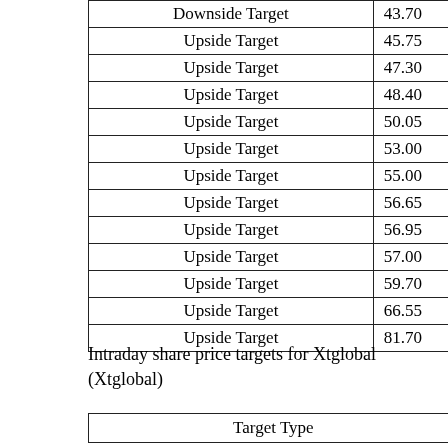| Downside Target | 43.70 |
| Upside Target | 45.75 |
| Upside Target | 47.30 |
| Upside Target | 48.40 |
| Upside Target | 50.05 |
| Upside Target | 53.00 |
| Upside Target | 55.00 |
| Upside Target | 56.65 |
| Upside Target | 56.95 |
| Upside Target | 57.00 |
| Upside Target | 59.70 |
| Upside Target | 66.55 |
| Upside Target | 81.70 |
Intraday share price targets for Xtglobal (Xtglobal)
| Target Type | Value |
| --- | --- |